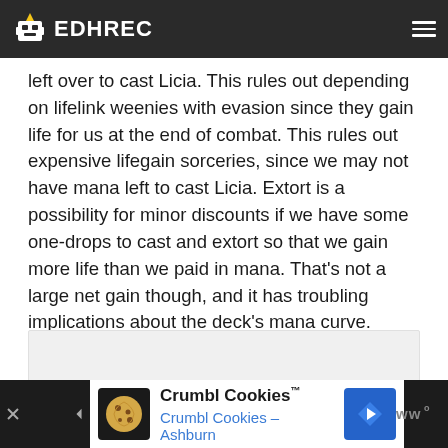EDHREC
left over to cast Licia. This rules out depending on lifelink weenies with evasion since they gain life for us at the end of combat. This rules out expensive lifegain sorceries, since we may not have mana left to cast Licia. Extort is a possibility for minor discounts if we have some one-drops to cast and extort so that we gain more life than we paid in mana. That’s not a large net gain though, and it has troubling implications about the deck’s mana curve.
[Figure (other): Gray advertisement placeholder box]
Crumbl Cookies™ Crumbl Cookies – Ashburn